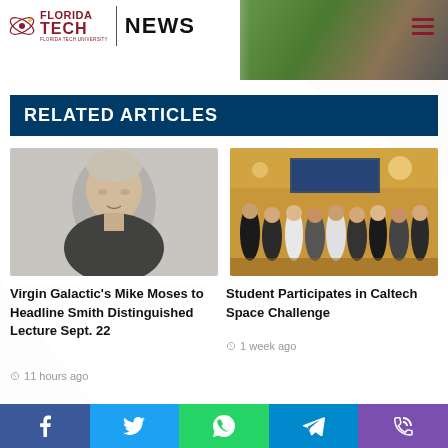[Figure (screenshot): Florida Tech News website header with logo, NEWS label, navigation hamburger menu, and background photo of greenery and sculpture]
RELATED ARTICLES
[Figure (photo): Portrait photo of a middle-aged man in dark clothing, likely Mike Moses]
Virgin Galactic's Mike Moses to Headline Smith Distinguished Lecture Sept. 22
11 hours ago
[Figure (photo): Group photo of students at the Caltech Space Challenge event, standing in a room]
Student Participates in Caltech Space Challenge
1 week ago
[Figure (infographic): Social sharing bar with Facebook, Twitter, WhatsApp, Telegram, and phone icons]